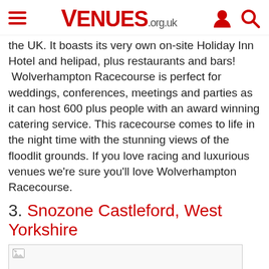VENUES.org.uk
the UK. It boasts its very own on-site Holiday Inn Hotel and helipad, plus restaurants and bars! Wolverhampton Racecourse is perfect for weddings, conferences, meetings and parties as it can host 600 plus people with an award winning catering service. This racecourse comes to life in the night time with the stunning views of the floodlit grounds. If you love racing and luxurious venues we're sure you'll love Wolverhampton Racecourse.
3. Snozone Castleford, West Yorkshire
[Figure (photo): Placeholder image for Snozone Castleford, West Yorkshire — image failed to load (broken image icon shown)]